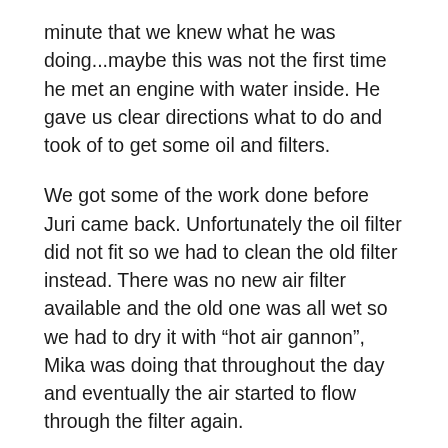minute that we knew what he was doing...maybe this was not the first time he met an engine with water inside. He gave us clear directions what to do and took of to get some oil and filters.
We got some of the work done before Juri came back. Unfortunately the oil filter did not fit so we had to clean the old filter instead. There was no new air filter available and the old one was all wet so we had to dry it with “hot air gannon”, Mika was doing that throughout the day and eventually the air started to flow through the filter again.
It took us the whole day to get the bike up and running again. We had to remove all the covers, air filter housing, battery and housing, all engine guards...